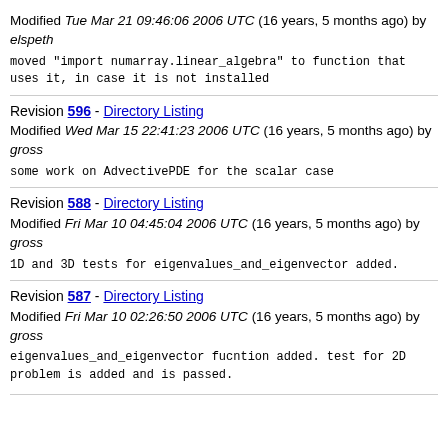Modified Tue Mar 21 09:46:06 2006 UTC (16 years, 5 months ago) by elspeth
moved "import numarray.linear_algebra" to function that uses it, in case it is not installed
Revision 596 - Directory Listing
Modified Wed Mar 15 22:41:23 2006 UTC (16 years, 5 months ago) by gross
some work on AdvectivePDE for the scalar case
Revision 588 - Directory Listing
Modified Fri Mar 10 04:45:04 2006 UTC (16 years, 5 months ago) by gross
1D and 3D tests for eigenvalues_and_eigenvector added.
Revision 587 - Directory Listing
Modified Fri Mar 10 02:26:50 2006 UTC (16 years, 5 months ago) by gross
eigenvalues_and_eigenvector fucntion added. test for 2D problem is added and is passed.